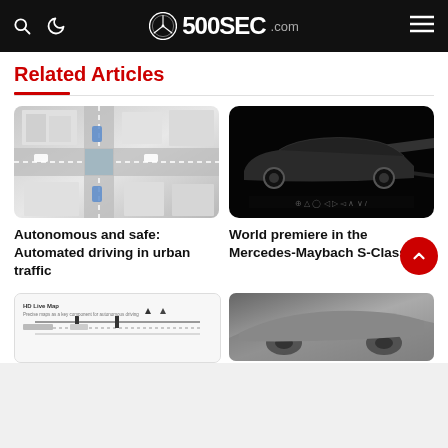500SEC.com
Related Articles
[Figure (photo): Aerial 3D render of autonomous vehicles navigating an urban intersection with white buildings]
Autonomous and safe: Automated driving in urban traffic
[Figure (photo): Mercedes-Maybach S-Class shown driving in the dark with dramatic light beams]
World premiere in the Mercedes-Maybach S-Class
[Figure (photo): HD Live Map - Precise maps as a key component for autonomous driving, showing road diagram]
[Figure (photo): Partially visible car image at bottom right]